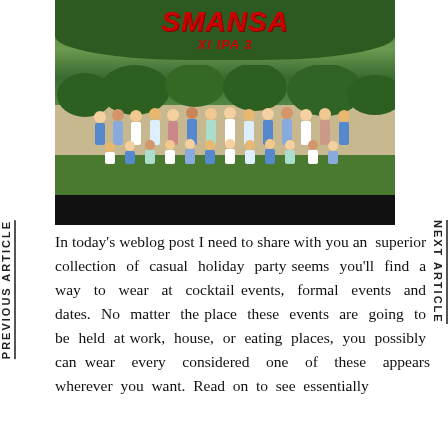[Figure (photo): Group photo of students outdoors on a lawn with trees in the background. A red bold italic title 'SMANSA' appears at the top with subtitle 'XI IPA 3'. A black bar appears at the bottom of the image.]
PREVIOUS ARTICLE
NEXT ARTICLE
In today's weblog post I need to share with you an superior collection of casual holiday party seems you'll find a way to wear at cocktail events, formal events and dates. No matter the place these events are going to be held at work, house, or eating places, you possibly can wear every considered one of these appears wherever you want. Read on to see essentially